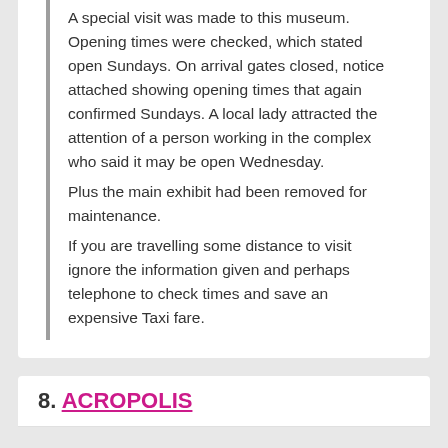A special visit was made to this museum. Opening times were checked, which stated open Sundays. On arrival gates closed, notice attached showing opening times that again confirmed Sundays. A local lady attracted the attention of a person working in the complex who said it may be open Wednesday.
Plus the main exhibit had been removed for maintenance.
If you are travelling some distance to visit ignore the information given and perhaps telephone to check times and save an expensive Taxi fare.
8. ACROPOLIS